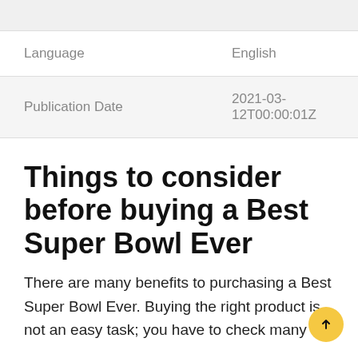|  |  |
| --- | --- |
| Language | English |
| Publication Date | 2021-03-12T00:00:01Z |
Things to consider before buying a Best Super Bowl Ever
There are many benefits to purchasing a Best Super Bowl Ever. Buying the right product is not an easy task; you have to check many